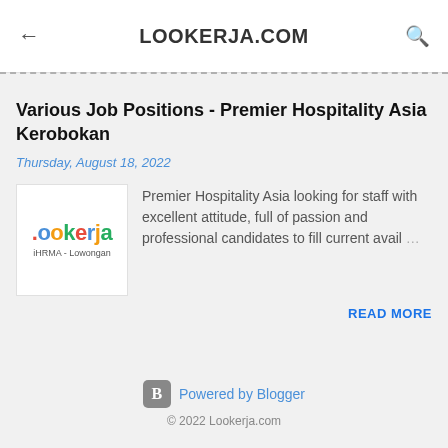LOOKERJA.COM
Various Job Positions - Premier Hospitality Asia Kerobokan
Thursday, August 18, 2022
[Figure (logo): Lookerja logo with colored letters and subtitle iHRMA - Lowongan]
Premier Hospitality Asia looking for staff with excellent attitude, full of passion and professional candidates to fill current avail...
READ MORE
Powered by Blogger
© 2022 Lookerja.com